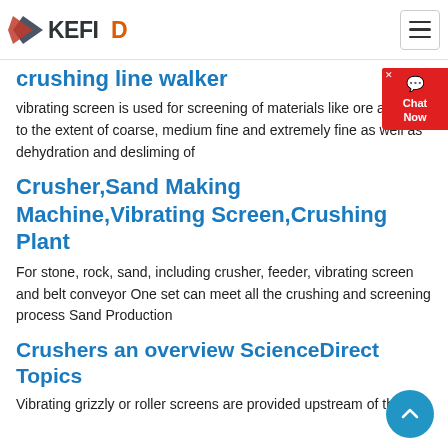KEFID
crushing line walker
vibrating screen is used for screening of materials like ore and co to the extent of coarse, medium fine and extremely fine as well as dehydration and desliming of
Crusher,Sand Making Machine,Vibrating Screen,Crushing Plant
For stone, rock, sand, including crusher, feeder, vibrating screen and belt conveyor One set can meet all the crushing and screening process Sand Production
Crushers an overview ScienceDirect Topics
Vibrating grizzly or roller screens are provided upstream of the